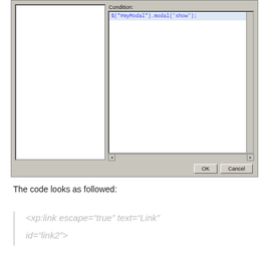[Figure (screenshot): Dialog box screenshot showing a 'Condition:' label with code input area containing the text: $("#myModal").modal('show'); with left panel empty, scrollbars, and OK/Cancel buttons at bottom right.]
The code looks as followed:
<xp:link escape="true" text="Link" id="link2">